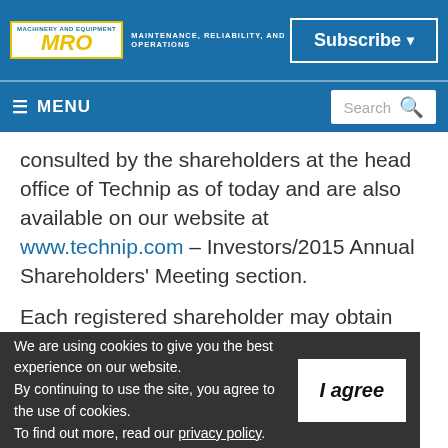MRO - MAINTENANCE, RELIABILITY, AND OPERATIONS | Subscribe
☰ MENU | Search
consulted by the shareholders at the head office of Technip as of today and are also available on our website at www.technip.com – Investors/2015 Annual Shareholders' Meeting section.
Each registered shareholder may obtain these documents by...
We are using cookies to give you the best experience on our website. By continuing to use the site, you agree to the use of cookies. To find out more, read our privacy policy.